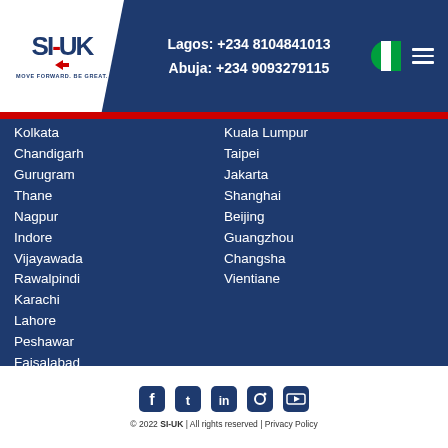SI-UK | MOVE FORWARD. BE GREAT. | Lagos: +234 8104841013 | Abuja: +234 9093279115
Kolkata
Chandigarh
Gurugram
Thane
Nagpur
Indore
Vijayawada
Rawalpindi
Karachi
Lahore
Peshawar
Faisalabad
Sahiwal
Multan
Dhaka
Chattogram
Kathmandu
Colombo
Jaffna
Kuala Lumpur
Taipei
Jakarta
Shanghai
Beijing
Guangzhou
Changsha
Vientiane
© 2022 SI-UK | All rights reserved | Privacy Policy